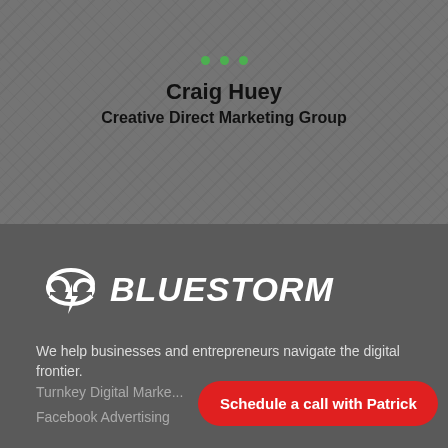[Figure (photo): Grayscale background photo showing mechanical/industrial scene with overlay, containing three green dots above speaker information]
Craig Huey
Creative Direct Marketing Group
[Figure (logo): Bluestorm logo: white cloud with lightning bolt icon and italic bold white text BLUESTORM on dark gray background]
We help businesses and entrepreneurs navigate the digital frontier.
Turnkey Digital Marke...
Facebook Advertising
Schedule a call with Patrick